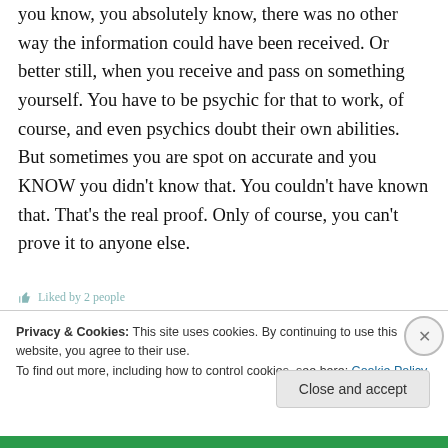you know, you absolutely know, there was no other way the information could have been received. Or better still, when you receive and pass on something yourself. You have to be psychic for that to work, of course, and even psychics doubt their own abilities. But sometimes you are spot on accurate and you KNOW you didn't know that. You couldn't have known that. That's the real proof. Only of course, you can't prove it to anyone else.
Privacy & Cookies: This site uses cookies. By continuing to use this website, you agree to their use.
To find out more, including how to control cookies, see here: Cookie Policy
Close and accept